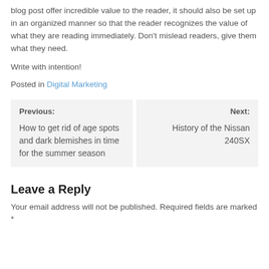blog post offer incredible value to the reader, it should also be set up in an organized manner so that the reader recognizes the value of what they are reading immediately. Don't mislead readers, give them what they need.
Write with intention!
Posted in Digital Marketing
Previous: How to get rid of age spots and dark blemishes in time for the summer season
Next: History of the Nissan 240SX
Leave a Reply
Your email address will not be published. Required fields are marked *